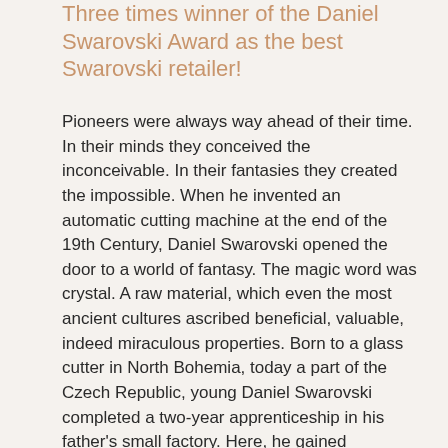Three times winner of the Daniel Swarovski Award as the best Swarovski retailer!
Pioneers were always way ahead of their time. In their minds they conceived the inconceivable. In their fantasies they created the impossible. When he invented an automatic cutting machine at the end of the 19th Century, Daniel Swarovski opened the door to a world of fantasy. The magic word was crystal. A raw material, which even the most ancient cultures ascribed beneficial, valuable, indeed miraculous properties. Born to a glass cutter in North Bohemia, today a part of the Czech Republic, young Daniel Swarovski completed a two-year apprenticeship in his father's small factory. Here, he gained expertise in cutting glass. During this time, in 1892, he invented a machine that revolutionized the process of crystal cutting. He filed for patents soon after.
In 1895, he founded the company Swarovski. He realized that he needed more water, power and a factory building in order for his plans to manifest. In